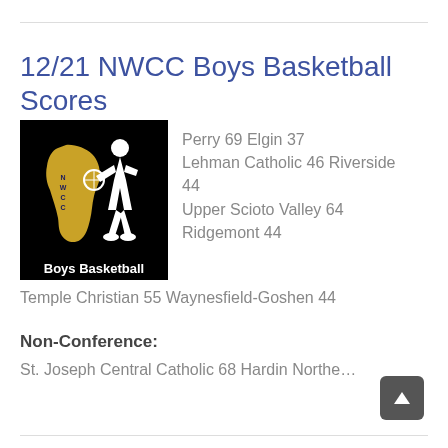12/21 NWCC Boys Basketball Scores
[Figure (logo): NWCC Boys Basketball logo — black background with gold Ohio state outline marked NWCC, white silhouette of basketball player dribbling, bold white text 'Boys Basketball' at bottom]
Perry 69 Elgin 37
Lehman Catholic 46 Riverside 44
Upper Scioto Valley 64
Ridgemont 44
Temple Christian 55 Waynesfield-Goshen 44
Non-Conference:
St. Joseph Central Catholic 68 Hardin Northern 47